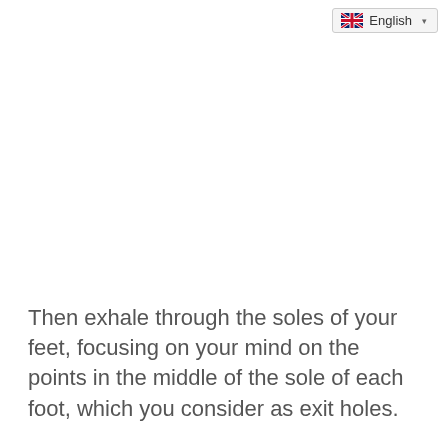English
Then exhale through the soles of your feet, focusing on your mind on the points in the middle of the sole of each foot, which you consider as exit holes.